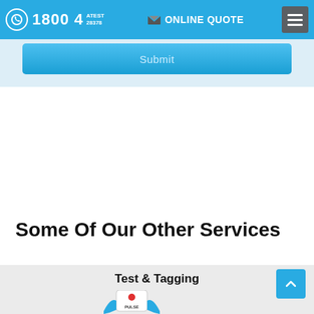1800 4 ATEST 28378   ONLINE QUOTE
Submit
Some Of Our Other Services
Test & Tagging
[Figure (illustration): Pulse test and tagging device illustration with blue hand/glove and meter device showing PULSE label]